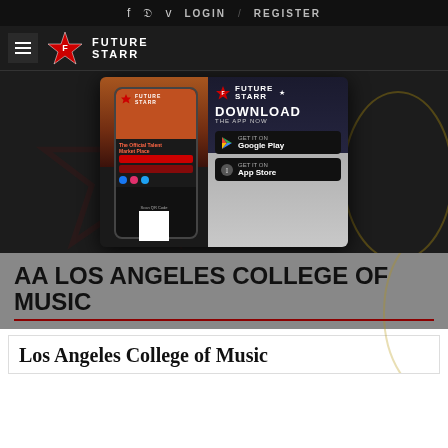f  twitter  v  LOGIN  /  REGISTER
[Figure (logo): FutureStarr logo with hamburger menu and star icon]
[Figure (screenshot): FutureStarr app advertisement popup showing app download call-to-action with Google Play and App Store buttons, phone mockup, and QR code]
AA LOS ANGELES COLLEGE OF MUSIC
Los Angeles College of Music